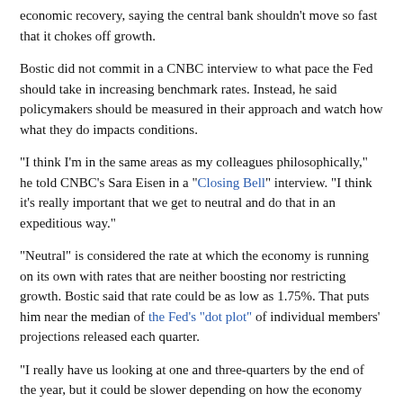economic recovery, saying the central bank shouldn't move so fast that it chokes off growth.
Bostic did not commit in a CNBC interview to what pace the Fed should take in increasing benchmark rates. Instead, he said policymakers should be measured in their approach and watch how what they do impacts conditions.
“I think I’m in the same areas as my colleagues philosophically,” he told CNBC’s Sara Eisen in a “Closing Bell” interview. “I think it’s really important that we get to neutral and do that in an expeditious way.”
“Neutral” is considered the rate at which the economy is running on its own with rates that are neither boosting nor restricting growth. Bostic said that rate could be as low as 1.75%. That puts him near the median of the Fed’s “dot plot” of individual members’ projections released each quarter.
“I really have us looking at one and three-quarters by the end of the year, but it could be slower depending on how the economy evolves and we do see greater weakening than I’m seeing in my baseline model,”